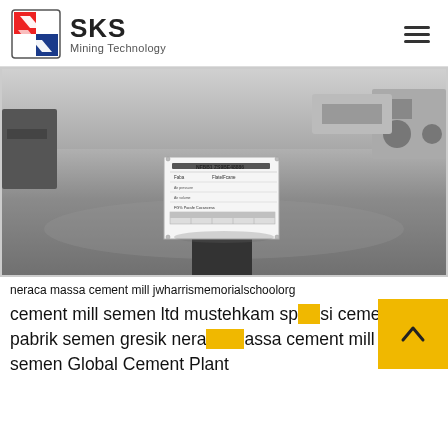SKS Mining Technology
[Figure (photo): Industrial factory/warehouse floor with smooth grey epoxy coating. A specification or data plate sign is mounted on a dark pedestal in the center. Industrial machinery and trucks visible in the background.]
neraca massa cement mill jwharrismemorialschoolorg
cement mill semen ltd mustehkam spesifikasi cement mill pabrik semen gresik neraca massa cement mill pada pt semen Global Cement Plant